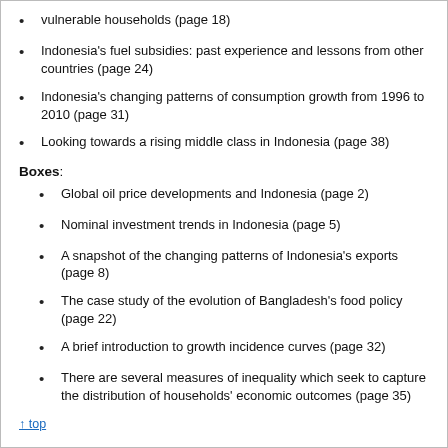vulnerable households (page 18)
Indonesia's fuel subsidies: past experience and lessons from other countries (page 24)
Indonesia's changing patterns of consumption growth from 1996 to 2010 (page 31)
Looking towards a rising middle class in Indonesia (page 38)
Boxes:
Global oil price developments and Indonesia (page 2)
Nominal investment trends in Indonesia (page 5)
A snapshot of the changing patterns of Indonesia's exports (page 8)
The case study of the evolution of Bangladesh's food policy (page 22)
A brief introduction to growth incidence curves (page 32)
There are several measures of inequality which seek to capture the distribution of households' economic outcomes (page 35)
↑ top